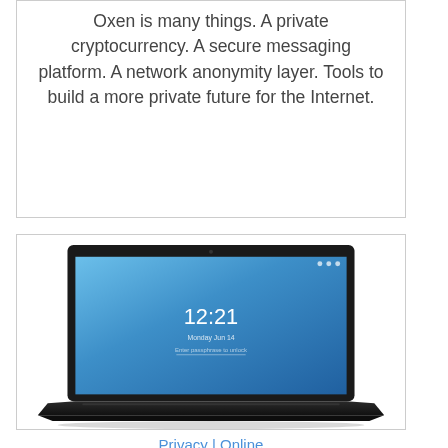Oxen is many things. A private cryptocurrency. A secure messaging platform. A network anonymity layer. Tools to build a more private future for the Internet.
[Figure (screenshot): A laptop computer with a blue gradient lock screen showing the time 12:21, displayed against a white background inside a bordered box.]
Privacy | Online